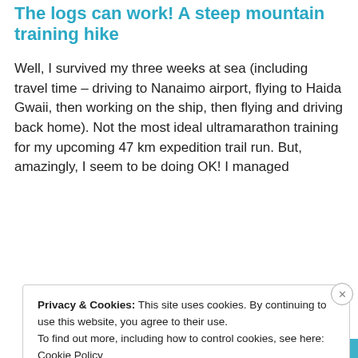The logs can work! A steep mountain training hike
Well, I survived my three weeks at sea (including travel time – driving to Nanaimo airport, flying to Haida Gwaii, then working on the ship, then flying and driving back home). Not the most ideal ultramarathon training for my upcoming 47 km expedition trail run. But, amazingly, I seem to be doing OK! I managed
Privacy & Cookies: This site uses cookies. By continuing to use this website, you agree to their use.
To find out more, including how to control cookies, see here: Cookie Policy
Close and accept